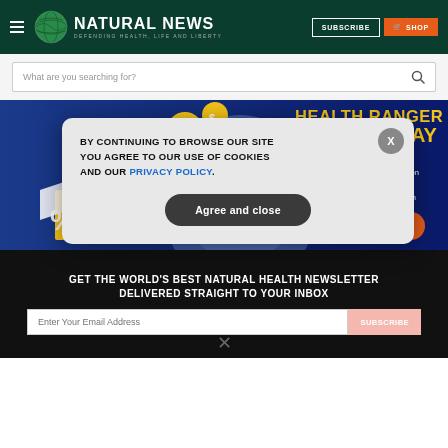[Figure (logo): Natural News logo with globe icon and tagline 'Defending Health, Life and Liberty']
What are you searching for?
[Figure (infographic): Health Ranger Store Today affiliate program banner ad - Sign Up, Advertise, Get Paid. Earn up to 12% affiliate commission on Health Ranger Store products! Guaranteed uncapped commission. GET STARTED >]
GET THE WORLD'S BEST NATURAL HEALTH NEWSLETTER DELIVERED STRAIGHT TO YOUR INBOX
BY CONTINUING TO BROWSE OUR SITE YOU AGREE TO OUR USE OF COOKIES AND OUR PRIVACY POLICY.
Agree and close